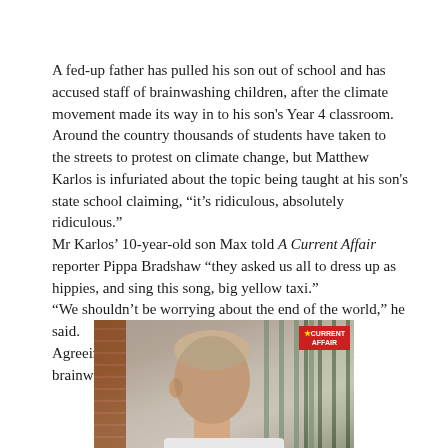A fed-up father has pulled his son out of school and has accused staff of brainwashing children, after the climate movement made its way in to his son's Year 4 classroom.
Around the country thousands of students have taken to the streets to protest on climate change, but Matthew Karlos is infuriated about the topic being taught at his son's state school claiming, “it’s ridiculous, absolutely ridiculous.”
Mr Karlos’ 10-year-old son Max told A Current Affair reporter Pippa Bradshaw “they asked us all to dress up as hippies, and sing this song, big yellow taxi.”
“We shouldn’t be worrying about the end of the world,” he said.
Agreeing with his son, Mr Karlos claims, “it’s just brainwashing the younger generations.”
[Figure (photo): A young boy with a shaved head seen from behind/side near a fence and brick wall, with an A Current Affair logo badge in the top right corner of the image.]